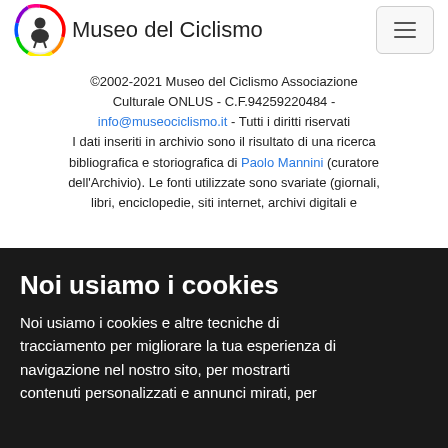Museo del Ciclismo
©2002-2021 Museo del Ciclismo Associazione Culturale ONLUS - C.F.94259220484 - info@museociclismo.it - Tutti i diritti riservati
I dati inseriti in archivio sono il risultato di una ricerca bibliografica e storiografica di Paolo Mannini (curatore dell'Archivio). Le fonti utilizzate sono svariate (giornali, libri, enciclopedie, siti internet, archivi digitali e
Noi usiamo i cookies
Noi usiamo i cookies e altre tecniche di tracciamento per migliorare la tua esperienza di navigazione nel nostro sito, per mostrarti contenuti personalizzati e annunci mirati, per